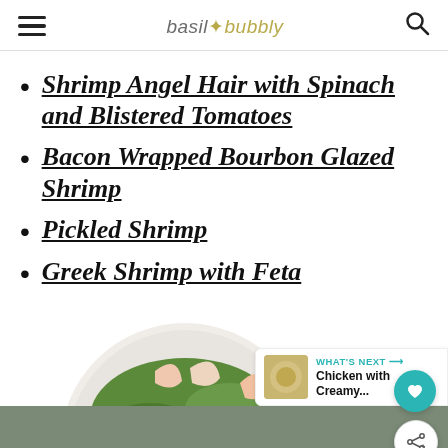basil+bubbly
Shrimp Angel Hair with Spinach and Blistered Tomatoes
Bacon Wrapped Bourbon Glazed Shrimp
Pickled Shrimp
Greek Shrimp with Feta
[Figure (photo): Circular photo of a shrimp cocktail platter with shrimp, lemon slices, cocktail sauce, and parsley on a plate]
WHAT'S NEXT → Chicken with Creamy...